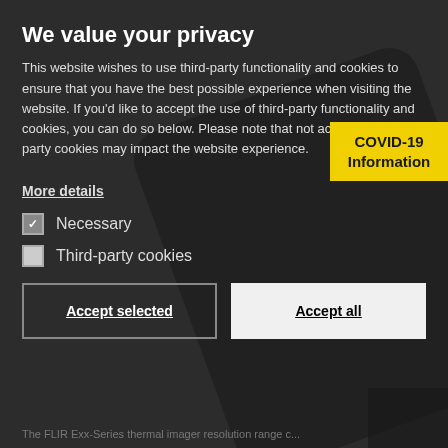We value your privacy
This website wishes to use third-party functionality and cookies to ensure that you have the best possible experience when visiting the website. If you'd like to accept the use of third-party functionality and cookies, you can do so below. Please note that not accepting third-party cookies may impact the website experience.
[Figure (infographic): COVID-19 Information yellow badge in upper right of modal]
More details
Necessary (checked checkbox)
Third-party cookies (unchecked checkbox)
Accept selected | Accept all
The FLIR Exx-Series thermal imager resolution range c...